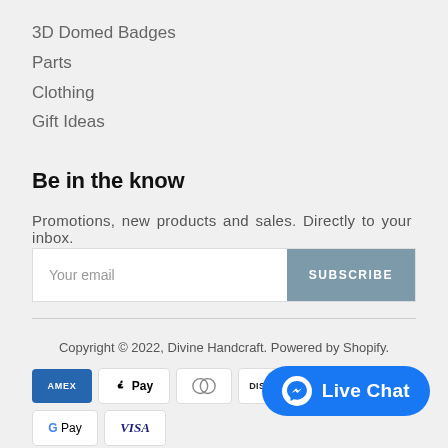3D Domed Badges
Parts
Clothing
Gift Ideas
Be in the know
Promotions, new products and sales. Directly to your inbox.
Your email / SUBSCRIBE
Copyright © 2022, Divine Handcraft. Powered by Shopify.
[Figure (other): Payment method icons: American Express, Apple Pay, Diners Club, Discover, Google Pay, Visa]
[Figure (other): Live Chat button with Facebook Messenger icon]